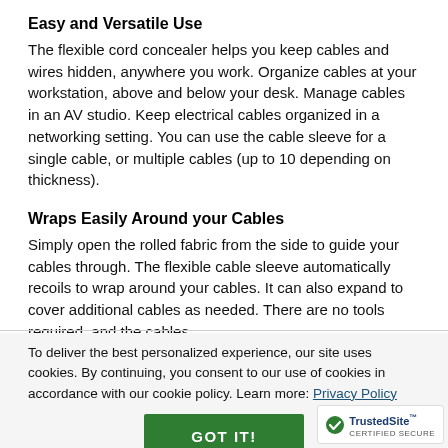Easy and Versatile Use
The flexible cord concealer helps you keep cables and wires hidden, anywhere you work. Organize cables at your workstation, above and below your desk. Manage cables in an AV studio. Keep electrical cables organized in a networking setting. You can use the cable sleeve for a single cable, or multiple cables (up to 10 depending on thickness).
Wraps Easily Around your Cables
Simply open the rolled fabric from the side to guide your cables through. The flexible cable sleeve automatically recoils to wrap around your cables. It can also expand to cover additional cables as needed. There are no tools required, and the cables
To deliver the best personalized experience, our site uses cookies. By continuing, you consent to our use of cookies in accordance with our cookie policy. Learn more: Privacy Policy
GOT IT!